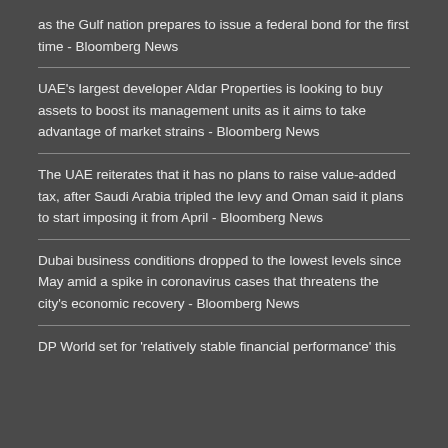as the Gulf nation prepares to issue a federal bond for the first time - Bloomberg News
UAE's largest developer Aldar Properties is looking to buy assets to boost its management units as it aims to take advantage of market strains - Bloomberg News
The UAE reiterates that it has no plans to raise value-added tax, after Saudi Arabia tripled the levy and Oman said it plans to start imposing it from April - Bloomberg News
Dubai business conditions dropped to the lowest levels since May amid a spike in coronavirus cases that threatens the city's economic recovery - Bloomberg News
DP World set for 'relatively stable financial performance' this